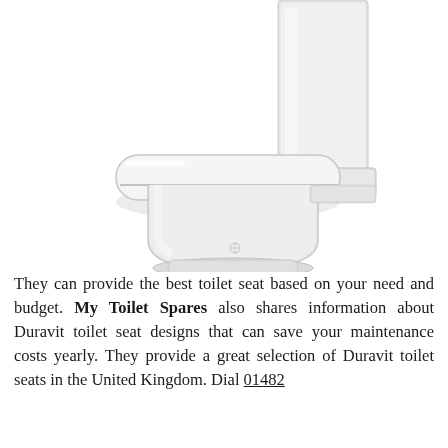[Figure (photo): White ceramic close-coupled toilet with square seat and cistern, shown at an angle against a white background.]
They can provide the best toilet seat based on your need and budget. My Toilet Spares also shares information about Duravit toilet seat designs that can save your maintenance costs yearly. They provide a great selection of Duravit toilet seats in the United Kingdom. Dial 01482 631333